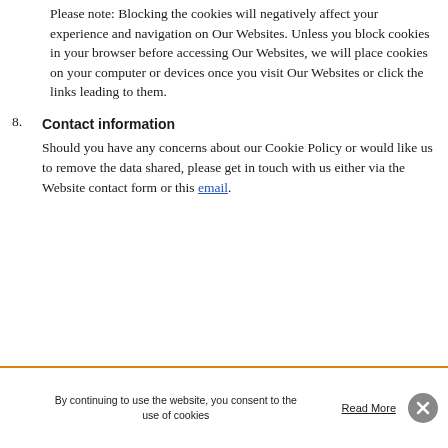Please note: Blocking the cookies will negatively affect your experience and navigation on Our Websites. Unless you block cookies in your browser before accessing Our Websites, we will place cookies on your computer or devices once you visit Our Websites or click the links leading to them.
8. Contact information
Should you have any concerns about our Cookie Policy or would like us to remove the data shared, please get in touch with us either via the Website contact form or this email.
By continuing to use the website, you consent to the use of cookies   Read More